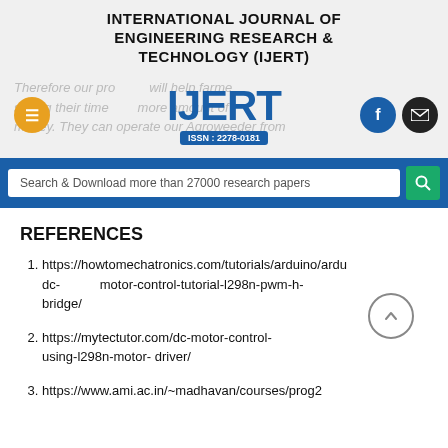INTERNATIONAL JOURNAL OF ENGINEERING RESEARCH & TECHNOLOGY (IJERT)
[Figure (logo): IJERT logo with ISSN: 2278-0181, overlaid on faded text about farmers saving time and money, with menu, Facebook, and mail icon buttons]
Search & Download more than 27000 research papers
REFERENCES
https://howtomechatronics.com/tutorials/arduino/ardu dc- motor-control-tutorial-l298n-pwm-h-bridge/
https://mytectutor.com/dc-motor-control-using-l298n-motor- driver/
https://www.ami.ac.in/~madhavan/courses/prog2